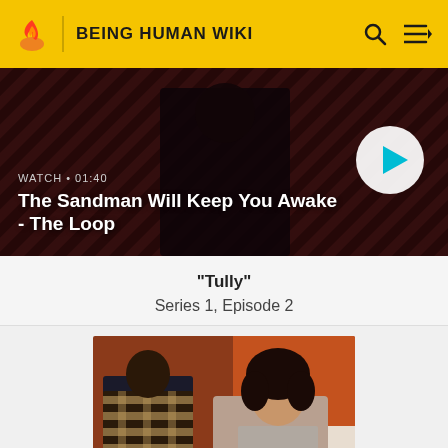BEING HUMAN WIKI
[Figure (screenshot): Video banner showing 'The Sandman Will Keep You Awake - The Loop' with WATCH • 01:40 label and a play button. Dark moody background with diagonal stripe pattern.]
"Tully"
Series 1, Episode 2
[Figure (photo): A man with his back to camera in a plaid jacket facing a woman with curly dark hair in a warm-toned room.]
Tully